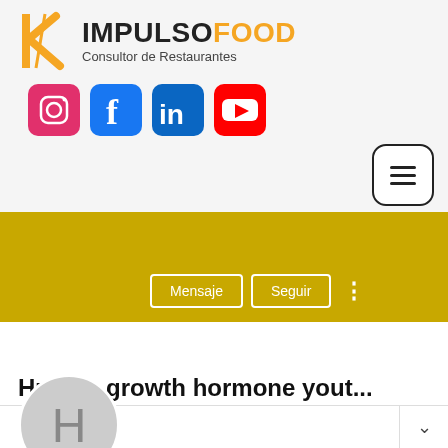[Figure (logo): ImpulsoFood logo with orange/yellow stylized IF letters and brand name IMPULSOFOOD with subtitle Consultor de Restaurantes]
[Figure (infographic): Row of social media icons: Instagram (pink), Facebook (blue), LinkedIn (blue), YouTube (red)]
[Figure (screenshot): LinkedIn-style profile page showing golden banner, avatar placeholder with letter H, Mensaje and Seguir buttons, profile name Human growth hormone yout..., 0 Seguidores, 0 Siguiendo]